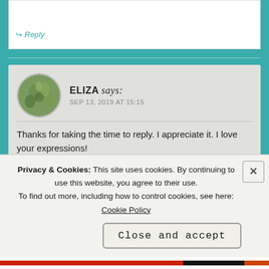Reply
ELIZA says:
SEP 13, 2019 AT 15:15
Thanks for taking the time to reply. I appreciate it. I love your expressions!
It definitely does pass if don't think about it, and let it be and move on to other things.
Privacy & Cookies: This site uses cookies. By continuing to use this website, you agree to their use.
To find out more, including how to control cookies, see here: Cookie Policy
Close and accept